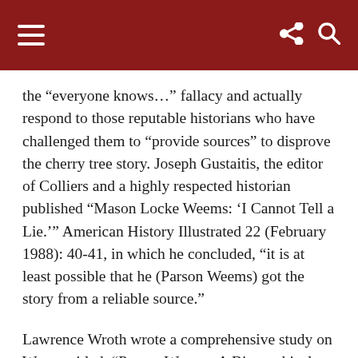the “everyone knows…” fallacy and actually respond to those reputable historians who have challenged them to “provide sources” to disprove the cherry tree story. Joseph Gustaitis, the editor of Colliers and a highly respected historian published “Mason Locke Weems: ‘I Cannot Tell a Lie.’” American History Illustrated 22 (February 1988): 40-41, in which he concluded, “it is at least possible that he (Parson Weems) got the story from a reliable source.”
Lawrence Wroth wrote a comprehensive study on Weems titled, “Parson Weems: A Biographical and Critical Study,” in which he concluded, “It is quite within the pale of probability that when Weems gave as his